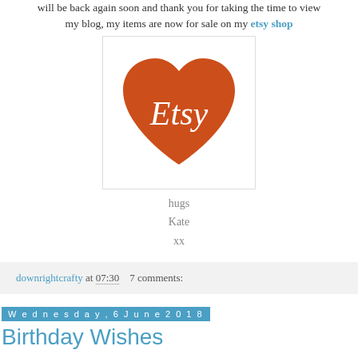will be back again soon and thank you for taking the time to view my blog, my items are now for sale on my etsy shop
[Figure (logo): Etsy logo — orange heart shape with white 'Etsy' text in italic serif font, on a white background with light border]
hugs
Kate
xx
downrightcrafty at 07:30   7 comments:
Wednesday, 6 June 2018
Birthday Wishes
Hello all